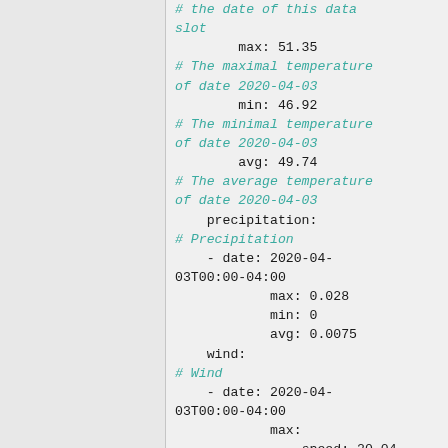# the date of this data slot
        max: 51.35
# The maximal temperature of date 2020-04-03
        min: 46.92
# The minimal temperature of date 2020-04-03
        avg: 49.74
# The average temperature of date 2020-04-03
    precipitation:
# Precipitation
    - date: 2020-04-03T00:00-04:00
            max: 0.028
            min: 0
            avg: 0.0075
    wind:
# Wind
    - date: 2020-04-03T00:00-04:00
            max:
                speed: 20.04
                direction: 327.03